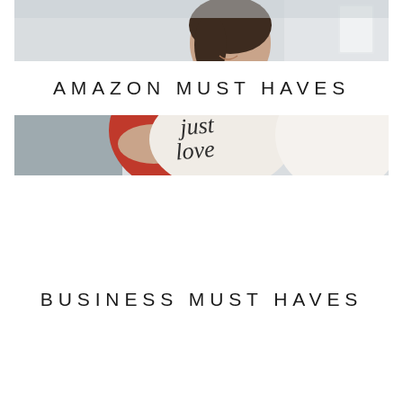[Figure (photo): A smiling young woman with dark hair sitting on a couch, wearing a red sweater, holding a white pillow/cushion with cursive script text on it. The image is in light, bright tones with a cozy home setting.]
AMAZON MUST HAVES
BUSINESS MUST HAVES